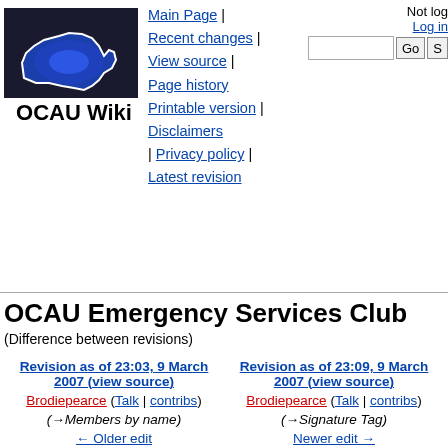[Figure (logo): OCAU Wiki logo — stylized map of Australia in blue with white outline on dark background]
OCAU Wiki
Main Page | Recent changes | View source | Page history
Printable version | Disclaimers | Privacy policy | Latest revision
Not logged
Log in
OCAU Emergency Services Club
(Difference between revisions)
| Revision as of 23:03, 9 March 2007 (view source) | Revision as of 23:09, 9 March 2007 (view source) |
| --- | --- |
| Brodiepearce (Talk | contribs) | Brodiepearce (Talk | contribs) |
| (→Members by name) | (→Signature Tag) |
| ← Older edit | Newer edit → |